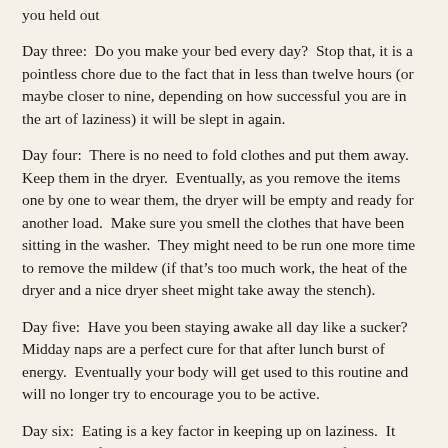you held out
Day three:  Do you make your bed every day?  Stop that, it is a pointless chore due to the fact that in less than twelve hours (or maybe closer to nine, depending on how successful you are in the art of laziness) it will be slept in again.
Day four:  There is no need to fold clothes and put them away.  Keep them in the dryer.  Eventually, as you remove the items one by one to wear them, the dryer will be empty and ready for another load.  Make sure you smell the clothes that have been sitting in the washer.  They might need to be run one more time to remove the mildew (if that’s too much work, the heat of the dryer and a nice dryer sheet might take away the stench).
Day five:  Have you been staying awake all day like a sucker?  Midday naps are a perfect cure for that after lunch burst of energy.  Eventually your body will get used to this routine and will no longer try to encourage you to be active.
Day six:  Eating is a key factor in keeping up on laziness.  It takes a lot of energy to be lazy.  Make sure you are feeding your habit properly.  If you are forced to get up and get your food or drink yourself, better double up on that, to save energy next time it’s